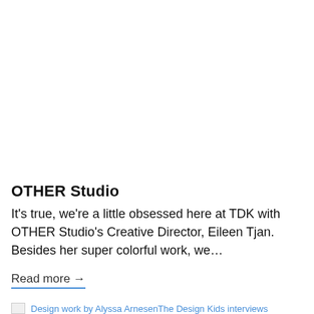OTHER Studio
It's true, we're a little obsessed here at TDK with OTHER Studio's Creative Director, Eileen Tjan. Besides her super colorful work, we…
Read more →
Design work by Alyssa ArnesenThe Design Kids interviews